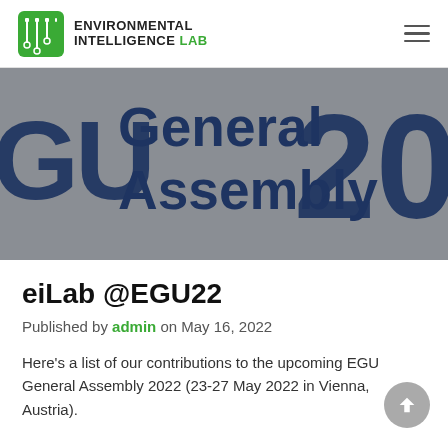[Figure (logo): Environmental Intelligence Lab logo with green icon and bold text]
[Figure (photo): EGU General Assembly 2022 banner image with dark blue large text on grey background showing 'GU General Assembly 20']
eiLab @EGU22
Published by admin on May 16, 2022
Here's a list of our contributions to the upcoming EGU General Assembly 2022 (23-27 May 2022 in Vienna, Austria).